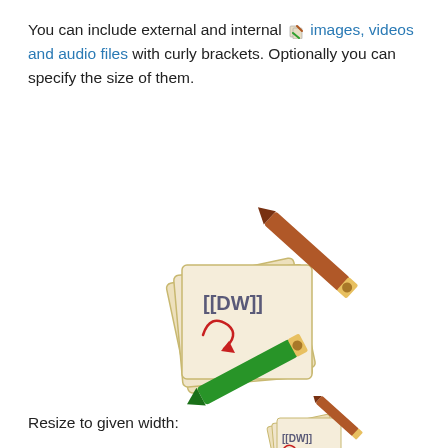You can include external and internal images, videos and audio files with curly brackets. Optionally you can specify the size of them.
Real size:
[Figure (illustration): DokuWiki logo/illustration showing stacked pages with pencils, large size]
Resize to given width:
[Figure (illustration): DokuWiki logo/illustration showing stacked pages with pencils, small/resized]
Resize to given width and height(2):
[Figure (illustration): DokuWiki logo/illustration cropped, showing partial view of pages and pencil]